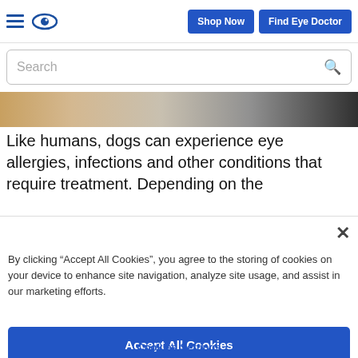Shop Now | Find Eye Doctor
[Figure (screenshot): Search bar with magnifying glass icon]
[Figure (photo): Close-up photo of a dog's fur, showing brown, white, grey, and black tones]
Like humans, dogs can experience eye allergies, infections and other conditions that require treatment. Depending on the
By clicking “Accept All Cookies”, you agree to the storing of cookies on your device to enhance site navigation, analyze site usage, and assist in our marketing efforts.
Accept All Cookies
Reject All
Cookies Settings